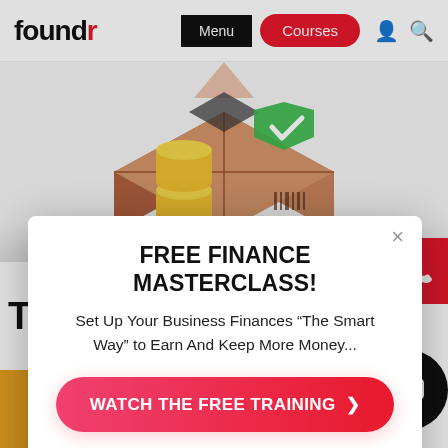[Figure (screenshot): Foundr website navigation bar with logo, Menu button, Courses button, user icon and search icon]
[Figure (illustration): Isometric illustration of a cardboard box with coins stacked beside it and a green checkmark shield, set on a light gray background with a pink triangle tooltip above]
FREE FINANCE MASTERCLASS!
Set Up Your Business Finances “The Smart Way” to Earn And Keep More Money...
WATCH THE FREE TRAINING ❯
NO THANKS, I’M NOT INTERESTED ❯